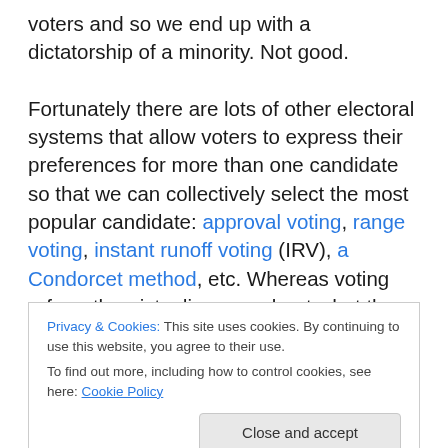voters and so we end up with a dictatorship of a minority. Not good.

Fortunately there are lots of other electoral systems that allow voters to express their preferences for more than one candidate so that we can collectively select the most popular candidate: approval voting, range voting, instant runoff voting (IRV), a Condorcet method, etc. Whereas voting reform theorists disagree about what the best system is because they all have different advantages, everyone universally agrees that any of these methods is
Privacy & Cookies: This site uses cookies. By continuing to use this website, you agree to their use.
To find out more, including how to control cookies, see here: Cookie Policy
Close and accept
are vastly superior to the one we have, then why don't we